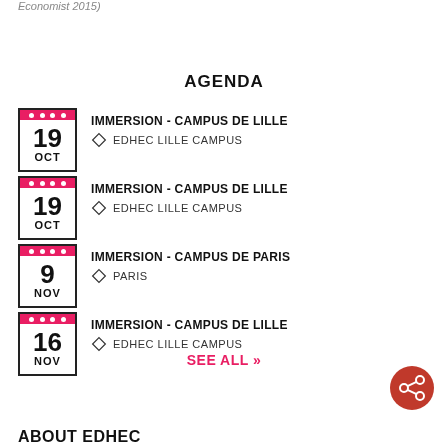Economist 2015)
AGENDA
19 OCT — IMMERSION - CAMPUS DE LILLE — EDHEC LILLE CAMPUS
19 OCT — IMMERSION - CAMPUS DE LILLE — EDHEC LILLE CAMPUS
9 NOV — IMMERSION - CAMPUS DE PARIS — PARIS
16 NOV — IMMERSION - CAMPUS DE LILLE — EDHEC LILLE CAMPUS
SEE ALL »
ABOUT EDHEC